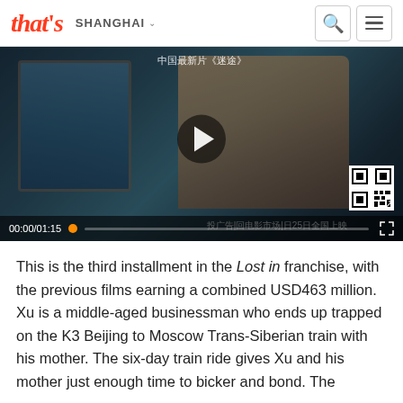that's SHANGHAI
[Figure (screenshot): Video thumbnail showing a man in a train scene with Chinese text overlay, play button, progress bar showing 00:00/01:15, QR code in bottom right corner]
This is the third installment in the Lost in franchise, with the previous films earning a combined USD463 million. Xu is a middle-aged businessman who ends up trapped on the K3 Beijing to Moscow Trans-Siberian train with his mother. The six-day train ride gives Xu and his mother just enough time to bicker and bond. The...